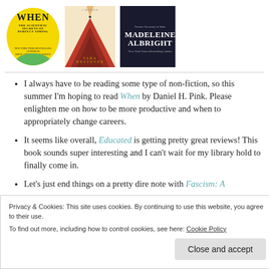[Figure (illustration): Three book covers: 'When: The Scientific Secrets of Perfect Timing' by Daniel H. Pink (yellow circle cover), 'Educated: A Memoir' by Tara Westover (orange pencil/mountain cover), and a Madeleine Albright book (dark cover with white text)]
I always have to be reading some type of non-fiction, so this summer I'm hoping to read When by Daniel H. Pink. Please enlighten me on how to be more productive and when to appropriately change careers.
It seems like overall, Educated is getting pretty great reviews! This book sounds super interesting and I can't wait for my library hold to finally come in.
Let's just end things on a pretty dire note with Fascism: A
Privacy & Cookies: This site uses cookies. By continuing to use this website, you agree to their use.
To find out more, including how to control cookies, see here: Cookie Policy
Close and accept